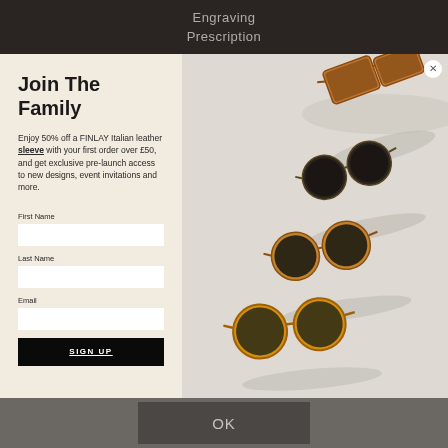Engraving
Prescription
Join The Family
Enjoy 50% off a FINLAY Italian leather sleeve with your first order over £50, and get exclusive pre-launch access to new designs, event invitations and more.
[Figure (photo): Flat lay photo of multiple pairs of sunglasses with tortoiseshell and amber frames arranged diagonally on a light background with shadows]
First Name
Last Name
Email
SIGN UP
OK